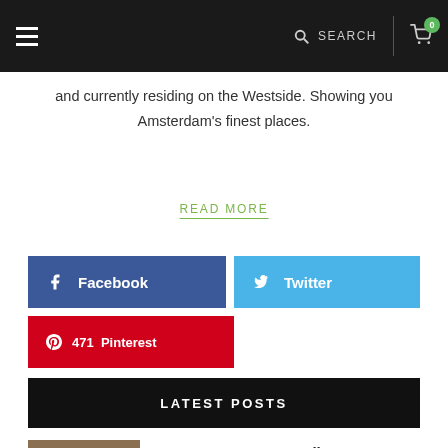SEARCH  0
and currently residing on the Westside. Showing you Amsterdam's finest places.
READ MORE
Facebook
Twitter
471  Pinterest
LATEST POSTS
Deer Mama: Vegan Mylk & Burger Bar in De Pijp